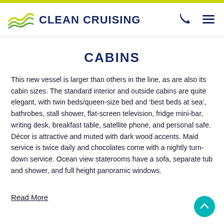CLEAN CRUISING
CABINS
This new vessel is larger than others in the line, as are also its cabin sizes. The standard interior and outside cabins are quite elegant, with twin beds/queen-size bed and ‘best beds at sea’, bathrobes, stall shower, flat-screen television, fridge mini-bar, writing desk, breakfast table, satellite phone, and personal safe. Décor is attractive and muted with dark wood accents. Maid service is twice daily and chocolates come with a nightly turn-down service. Ocean view staterooms have a sofa, separate tub and shower, and full height panoramic windows.
Read More